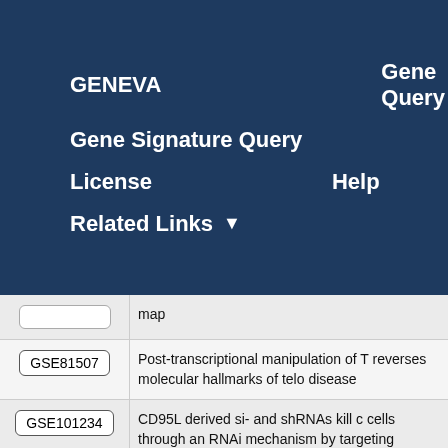GENEVA   Gene Query
Gene Signature Query
License   Help
Related Links ▾
| ID | Description |
| --- | --- |
|  | map |
| GSE81507 | Post-transcriptional manipulation of T reverses molecular hallmarks of telo disease |
| GSE101234 | CD95L derived si- and shRNAs kill c cells through an RNAi mechanism by targeting survival genes |